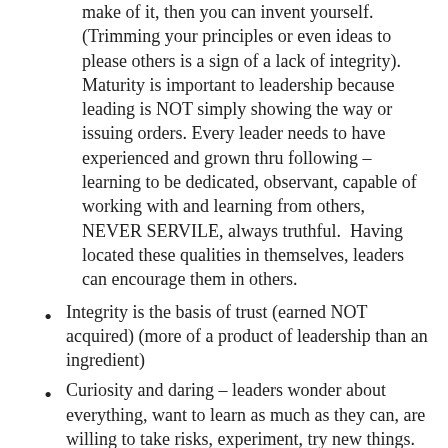make of it, then you can invent yourself. (Trimming your principles or even ideas to please others is a sign of a lack of integrity). Maturity is important to leadership because leading is NOT simply showing the way or issuing orders. Every leader needs to have experienced and grown thru following – learning to be dedicated, observant, capable of working with and learning from others, NEVER SERVILE, always truthful.  Having located these qualities in themselves, leaders can encourage them in others.
Integrity is the basis of trust (earned NOT acquired) (more of a product of leadership than an ingredient)
Curiosity and daring – leaders wonder about everything, want to learn as much as they can, are willing to take risks, experiment, try new things. They do NOT worry about failure, but embrace errors, knowing they will learn from them.  Learning